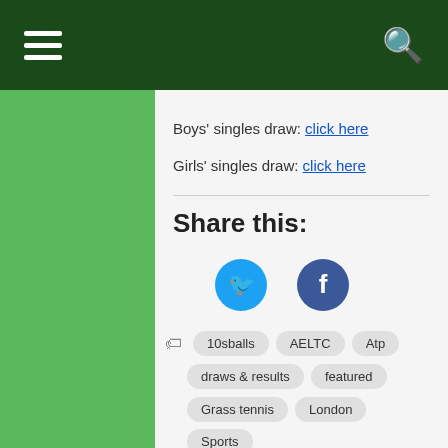Navigation bar with hamburger menu and search icon
Boys' singles draw: click here
Girls' singles draw: click here
Share this:
[Figure (other): Twitter and Facebook social sharing icon buttons (circular icons, cyan/blue)]
10sballs
AELTC
Atp
draws & results
featured
Grass tennis
London
Sports
Sw19
tennis
Tennis10sBalls